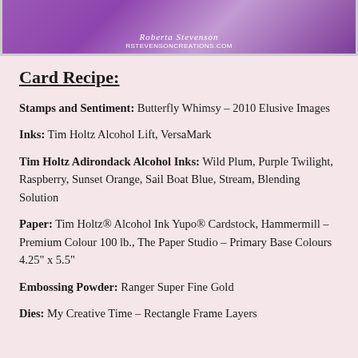[Figure (photo): Top banner image showing a purple floral/butterfly card design with the author name 'Roberta Stevenson' and website 'RSTEVENSONCREATIONS.COM' overlaid in white text]
Card Recipe:
Stamps and Sentiment: Butterfly Whimsy – 2010 Elusive Images
Inks: Tim Holtz Alcohol Lift, VersaMark
Tim Holtz Adirondack Alcohol Inks: Wild Plum, Purple Twilight, Raspberry, Sunset Orange, Sail Boat Blue, Stream, Blending Solution
Paper: Tim Holtz® Alcohol Ink Yupo® Cardstock, Hammermill – Premium Colour 100 lb., The Paper Studio – Primary Base Colours 4.25" x 5.5"
Embossing Powder: Ranger Super Fine Gold
Dies: My Creative Time – Rectangle Frame Layers